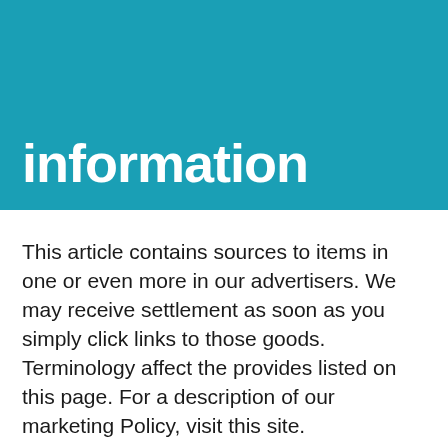information
This article contains sources to items in one or even more in our advertisers. We may receive settlement as soon as you simply click links to those goods. Terminology affect the provides listed on this page. For a description of our marketing Policy, visit this site.
That altered on Summer 24 aided by the opening of holiday resorts industry, a 3,500-room hotel advanced, with three Hilton places all in one place. Totaling an astonishing $4.8 billion, the property is considered the